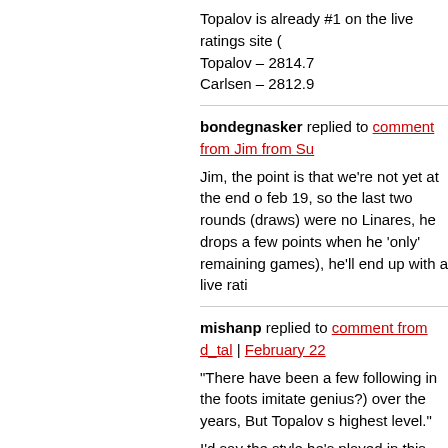Topalov is already #1 on the live ratings site (
Topalov – 2814.7
Carlsen – 2812.9
bondegnasker replied to comment from Jim from Su

Jim, the point is that we're not yet at the end o feb 19, so the last two rounds (draws) were no Linares, he drops a few points when he 'only' remaining games), he'll end up with a live rati
mishanp replied to comment from d_tal | February 22

"There have been a few following in the foots imitate genius?) over the years, But Topalov s highest level."

I'd say the style he's played in this Linares - a still doesn't quite succeed at the highest level. which is fine for a one-off event but not a reci his late blossoming was that he started to com prepared as Kasparov used to be (plus compu players). It makes an enormous difference if y you already know which lines to look for. I'm entertaining but much more dangerous.